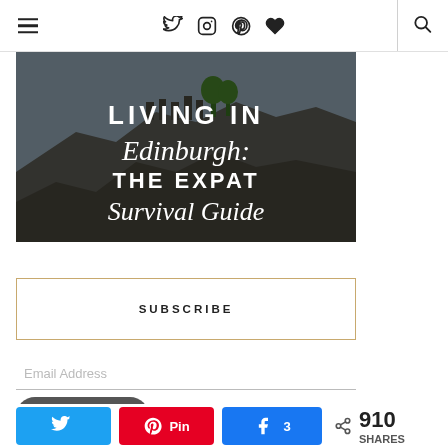Navigation bar with hamburger menu, social icons (Twitter, Instagram, Pinterest, Heart), divider, and search icon
[Figure (photo): Hero image of Edinburgh Castle on rocky cliff with overlaid text: LIVING IN Edinburgh: THE EXPAT Survival Guide]
SUBSCRIBE
Email Address
Subscribe
Social share bar: Twitter button, Pinterest (Pin) button, Facebook share button with count 3, total shares 910 SHARES